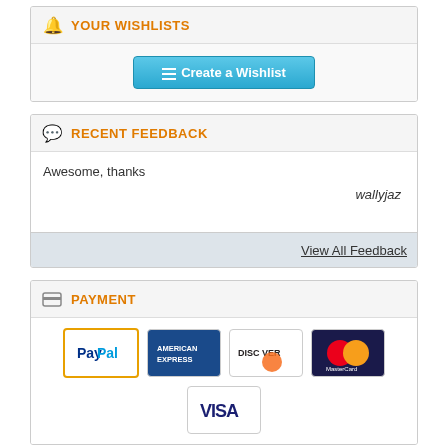YOUR WISHLISTS
[Figure (screenshot): Create a Wishlist button (blue/teal gradient)]
RECENT FEEDBACK
Awesome, thanks
wallyjaz
View All Feedback
PAYMENT
[Figure (logo): Payment logos: PayPal, American Express, Discover, MasterCard, Visa]
Statistics
150,353 Items
5,976 Lots
Payment
PayPal (Min US $11.70)
PayPal (Max US $12.00)
PayPal